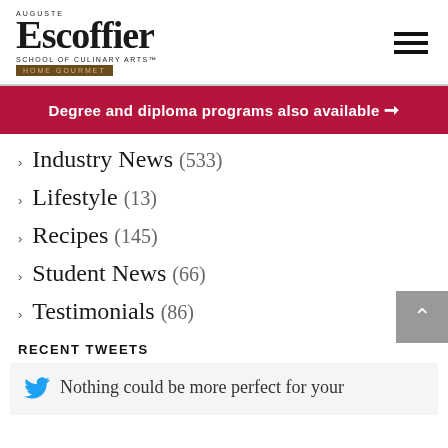Auguste Escoffier School of Culinary Arts Home Gourmet
Degree and diploma programs also available →
Industry News (533)
Lifestyle (13)
Recipes (145)
Student News (66)
Testimonials (86)
RECENT TWEETS
Nothing could be more perfect for your